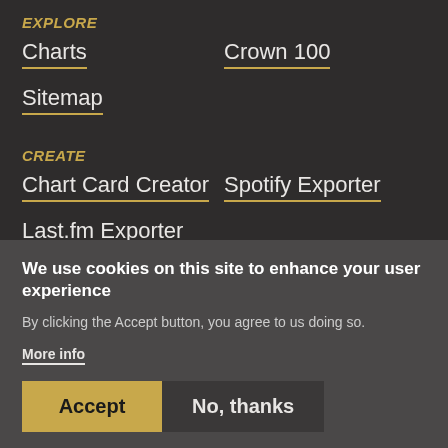EXPLORE
Charts
Crown 100
Sitemap
CREATE
Chart Card Creator
Spotify Exporter
Last.fm Exporter
LEARN
We use cookies on this site to enhance your user experience
By clicking the Accept button, you agree to us doing so.
More info
Accept
No, thanks